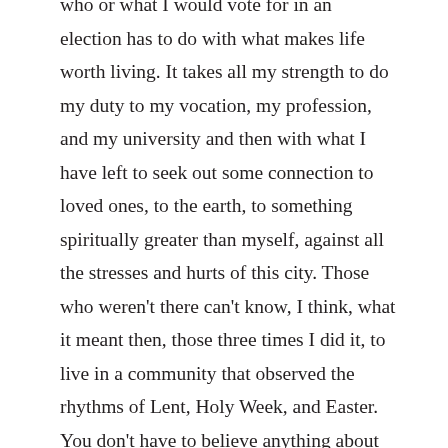who or what I would vote for in an election has to do with what makes life worth living. It takes all my strength to do my duty to my vocation, my profession, and my university and then with what I have left to seek out some connection to loved ones, to the earth, to something spiritually greater than myself, against all the stresses and hurts of this city. Those who weren't there can't know, I think, what it meant then, those three times I did it, to live in a community that observed the rhythms of Lent, Holy Week, and Easter. You don't have to believe anything about what might or might not have happened to Jesus to be less satisfied, when you come to the metropolis, by something that is lost when life does not stop to take account of the slow unfolding bounty of spring—to feel unmoored, to feel as if you have lost